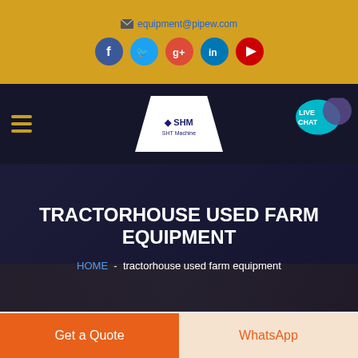equipment@pipew.com
[Figure (screenshot): Social media icons: Facebook (blue), Twitter (cyan), Google+ (red), LinkedIn (blue), YouTube (red) — circular icon buttons on a gold/yellow background bar]
[Figure (logo): SHM company logo in white pentagon/shield shape on dark navy navigation bar, with hamburger menu icon on the left and LIVE CHAT speech bubble on the right]
TRACTORHOUSE USED FARM EQUIPMENT
HOME - tractorhouse used farm equipment
[Figure (photo): Partial view of farm/industrial equipment image at bottom of hero section]
Get a Quote
WhatsApp